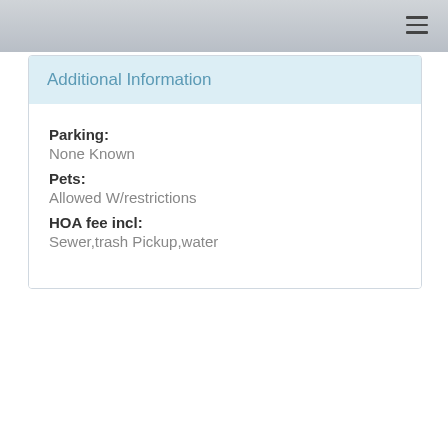Additional Information
Parking: None Known
Pets: Allowed W/restrictions
HOA fee incl: Sewer,trash Pickup,water